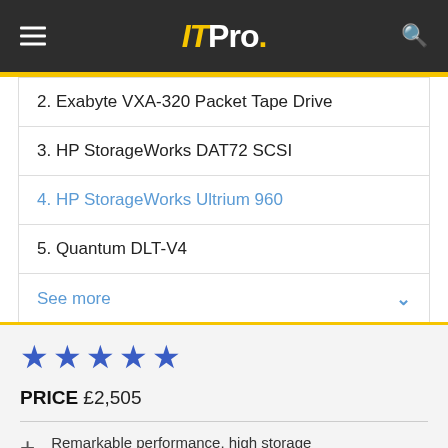IT Pro.
2. Exabyte VXA-320 Packet Tape Drive
3. HP StorageWorks DAT72 SCSI
4. HP StorageWorks Ultrium 960
5. Quantum DLT-V4
See more
★★★★★
PRICE £2,505
+ Remarkable performance, high storage capacity, good value